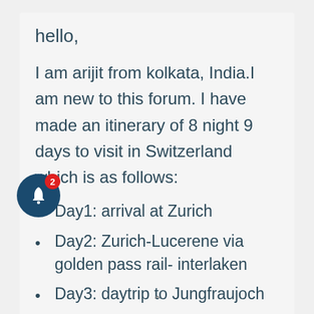hello,
I am arijit from kolkata, India.I am new to this forum. I have made an itinerary of 8 night 9 days to visit in Switzerland which is as follows:
Day1: arrival at Zurich
Day2: Zurich-Lucerene via golden pass rail- interlaken
Day3: daytrip to Jungfraujoch
Day4: interlaken- Brig....via Glacier